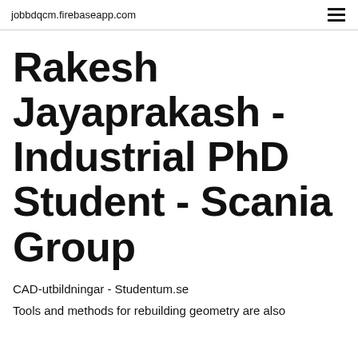jobbdqcm.firebaseapp.com
Rakesh Jayaprakash - Industrial PhD Student - Scania Group
CAD-utbildningar - Studentum.se
Tools and methods for rebuilding geometry are also